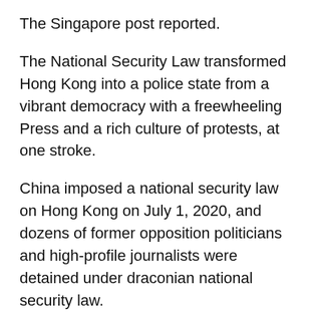The Singapore post reported.
The National Security Law transformed Hong Kong into a police state from a vibrant democracy with a freewheeling Press and a rich culture of protests, at one stroke.
China imposed a national security law on Hong Kong on July 1, 2020, and dozens of former opposition politicians and high-profile journalists were detained under draconian national security law.
Taiwan's Interior Ministry handed out 9,772 residence cards to Hong Kong